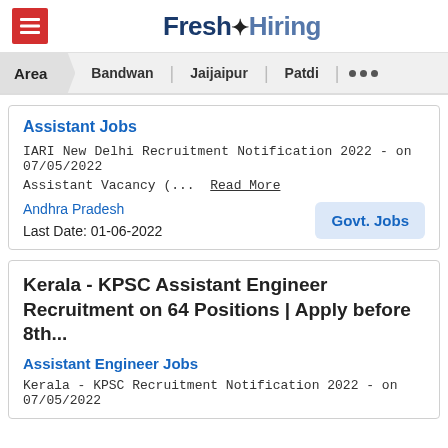Fresh Hiring
Area | Bandwan | Jaijaipur | Patdi | ...
Assistant Jobs
IARI New Delhi Recruitment Notification 2022 - on 07/05/2022 Assistant Vacancy (... Read More
Andhra Pradesh
Last Date: 01-06-2022
Govt. Jobs
Kerala - KPSC Assistant Engineer Recruitment on 64 Positions | Apply before 8th...
Assistant Engineer Jobs
Kerala - KPSC Recruitment Notification 2022 - on 07/05/2022